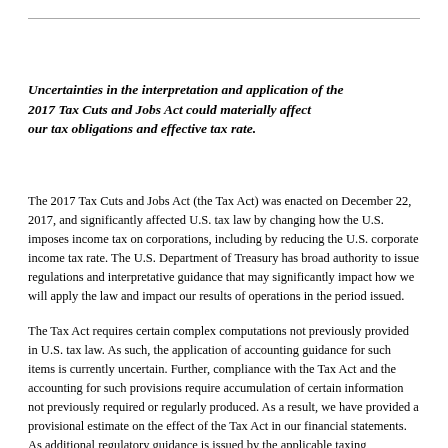Uncertainties in the interpretation and application of the 2017 Tax Cuts and Jobs Act could materially affect our tax obligations and effective tax rate.
The 2017 Tax Cuts and Jobs Act (the Tax Act) was enacted on December 22, 2017, and significantly affected U.S. tax law by changing how the U.S. imposes income tax on corporations, including by reducing the U.S. corporate income tax rate. The U.S. Department of Treasury has broad authority to issue regulations and interpretative guidance that may significantly impact how we will apply the law and impact our results of operations in the period issued.
The Tax Act requires certain complex computations not previously provided in U.S. tax law. As such, the application of accounting guidance for such items is currently uncertain. Further, compliance with the Tax Act and the accounting for such provisions require accumulation of certain information not previously required or regularly produced. As a result, we have provided a provisional estimate on the effect of the Tax Act in our financial statements. As additional regulatory guidance is issued by the applicable taxing authorities, as accounting treatment is clarified, as we perform additional analysis on the application of the law, and as we refine estimates in calculating the effect, our final analysis, which will be recorded in the period completed, may be different